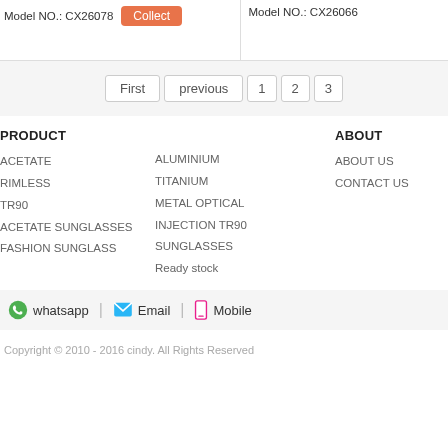Model NO.: CX26078   Collect   Model NO.: CX26066
First  previous  1  2  3
PRODUCT
ABOUT
ACETATE
ALUMINIUM
ABOUT US
RIMLESS
TITANIUM
CONTACT US
TR90
METAL OPTICAL
ACETATE SUNGLASSES
INJECTION TR90 SUNGLASSES
FASHION SUNGLASS
Ready stock
whatsapp   Email   Mobile
Copyright © 2010 - 2016 cindy. All Rights Reserved